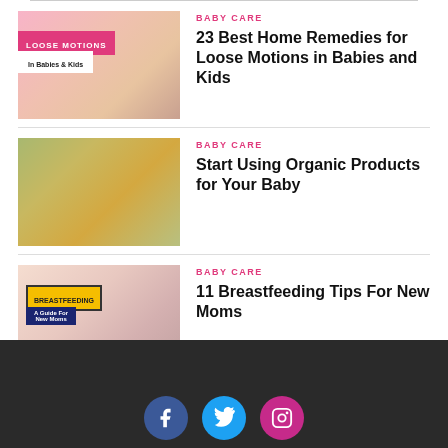[Figure (photo): Baby with pink blanket, text overlay: LOOSE MOTIONS In Babies & Kids]
BABY CARE
23 Best Home Remedies for Loose Motions in Babies and Kids
[Figure (photo): Various organic baby products arranged together]
BABY CARE
Start Using Organic Products for Your Baby
[Figure (photo): Breastfeeding guide image with text overlay: BREASTFEEDING A Guide For New Moms]
BABY CARE
11 Breastfeeding Tips For New Moms
Social media icons: Facebook, Twitter, Instagram